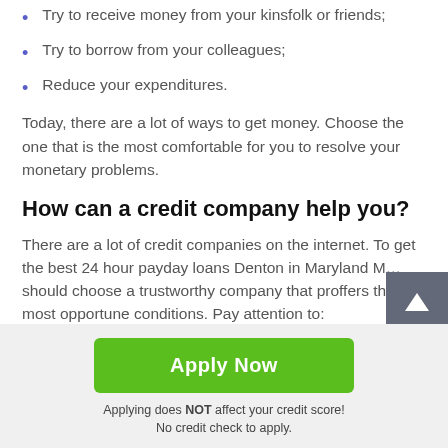Try to receive money from your kinsfolk or friends;
Try to borrow from your colleagues;
Reduce your expenditures.
Today, there are a lot of ways to get money. Choose the one that is the most comfortable for you to resolve your monetary problems.
How can a credit company help you?
There are a lot of credit companies on the internet. To get the best 24 hour payday loans Denton in Maryland M… should choose a trustworthy company that proffers the most opportune conditions. Pay attention to:
Apply Now
Applying does NOT affect your credit score!
No credit check to apply.